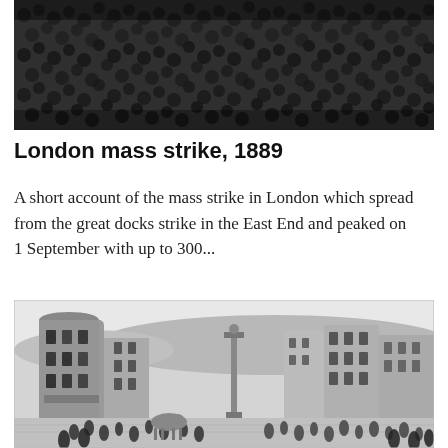[Figure (photo): Black and white historical photograph showing a dense crowd of people, likely from the late 19th century, viewed from above.]
London mass strike, 1889
A short account of the mass strike in London which spread from the great docks strike in the East End and peaked on 1 September with up to 300...
[Figure (photo): Black and white historical illustration or engraving showing a busy street scene in London with buildings, a monument/column, and crowds of people in Victorian-era dress.]